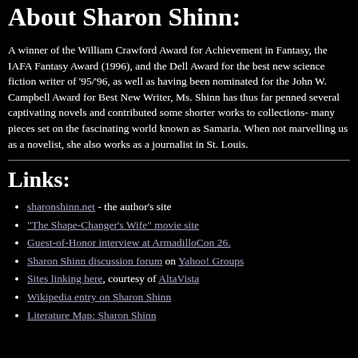About Sharon Shinn:
A winner of the William Crawford Award for Achievement in Fantasy, the IAFA Fantasy Award (1996), and the Dell Award for the best new science fiction writer of '95/'96, as well as having been nominated for the John W. Campbell Award for Best New Writer, Ms. Shinn has thus far penned several captivating novels and contributed some shorter works to collections- many pieces set on the fascinating world known as Samaria.  When not marvelling us as a novelist, she also works as a journalist in St. Louis.
Links:
sharonshinn.net - the author's site
"The Shape-Changer's Wife" movie site
Guest-of-Honor interview at ArmadilloCon 26.
Sharon Shinn discussion forum on Yahoo! Groups
Sites linking here, courtesy of AltaVista
Wikipedia entry on Sharon Shinn
Literature Map: Sharon Shinn